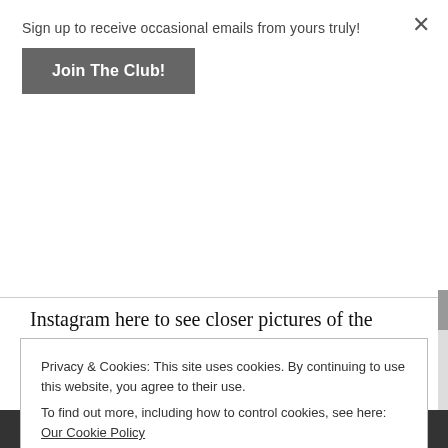Sign up to receive occasional emails from yours truly!
Join The Club!
Instagram here to see closer pictures of the items, and you can watch my video to see my reactions to taking out these amazing items from the Shadows and Secrets Box! Let me know what you think, until next time,
Keep turning the Pages
Privacy & Cookies: This site uses cookies. By continuing to use this website, you agree to their use.
To find out more, including how to control cookies, see here: Our Cookie Policy
Close and accept
[Figure (screenshot): Bottom strip showing 'April Owlcrate' text in italic gold font on dark background]